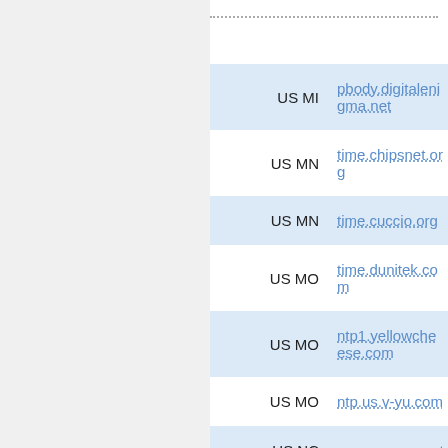| Location | Domain |
| --- | --- |
| US MI | pbody.digitalenigma.net |
| US MN | time.chipsnet.org |
| US MN | time.cuccio.org |
| US MO | time.dunitek.com |
| US MO | ntp1.yellowcheese.com |
| US MO | ntp.us.v-yu.com |
| US NC | ncnoc.ncren.net |
| US NC | terrapin.csc.ncsu.edu |
| US NH | ntp.uhfradio.com |